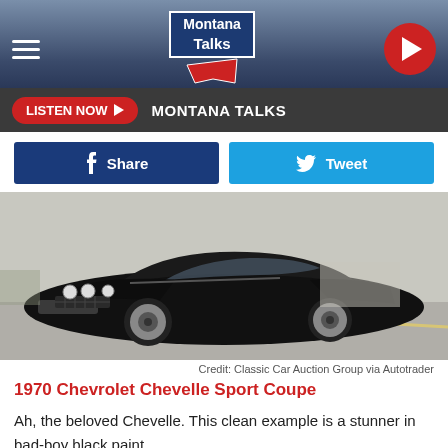Montana Talks
[Figure (logo): Montana Talks radio logo with state outline]
LISTEN NOW  MONTANA TALKS
[Figure (infographic): Facebook Share button and Twitter Tweet button side by side]
[Figure (photo): Black 1970 Chevrolet Chevelle Sport Coupe in a parking lot, front three-quarter view]
Credit: Classic Car Auction Group via Autotrader
1970 Chevrolet Chevelle Sport Coupe
Ah, the beloved Chevelle. This clean example is a stunner in bad-boy black paint.